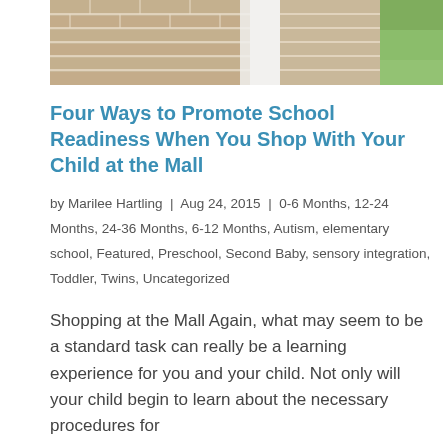[Figure (photo): Partial photo showing a brick wall background with some green grass visible on the right, and a partial figure in white in the center.]
Four Ways to Promote School Readiness When You Shop With Your Child at the Mall
by Marilee Hartling | Aug 24, 2015 | 0-6 Months, 12-24 Months, 24-36 Months, 6-12 Months, Autism, elementary school, Featured, Preschool, Second Baby, sensory integration, Toddler, Twins, Uncategorized
Shopping at the Mall Again, what may seem to be a standard task can really be a learning experience for you and your child. Not only will your child begin to learn about the necessary procedures for